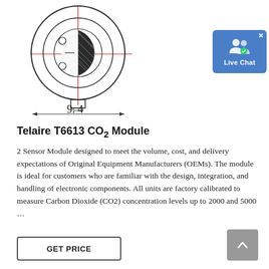[Figure (schematic): Technical schematic drawing of a circular connector/sensor module (Telaire T6613 CO2 Module) shown from top view. The circular component has crosshair red lines through its center, inner circle detail with small circles (pins) and a half-shaded semicircle. Below the circle is a small rectangular protrusion. A horizontal dimension line below reads '9.4'.]
[Figure (screenshot): Live Chat button widget - blue square with white people/chat icon and 'Live Chat' text, with an X close button in the top-right corner.]
Telaire T6613 CO2 Module
2 Sensor Module designed to meet the volume, cost, and delivery expectations of Original Equipment Manufacturers (OEMs). The module is ideal for customers who are familiar with the design, integration, and handling of electronic components. All units are factory calibrated to measure Carbon Dioxide (CO2) concentration levels up to 2000 and 5000 ...
GET PRICE